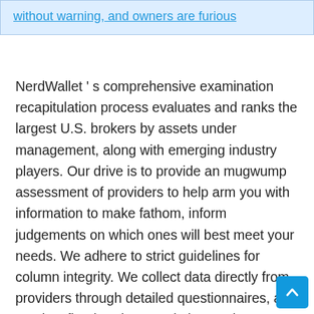without warning, and owners are furious
NerdWallet ' s comprehensive examination recapitulation process evaluates and ranks the largest U.S. brokers by assets under management, along with emerging industry players. Our drive is to provide an mugwump assessment of providers to help arm you with information to make fathom, inform judgements on which ones will best meet your needs. We adhere to strict guidelines for column integrity. We collect data directly from providers through detailed questionnaires, and conduct first-hand test and observation through provider demonstrations. The questionnaire answers, combined with demonstrations, intervi…